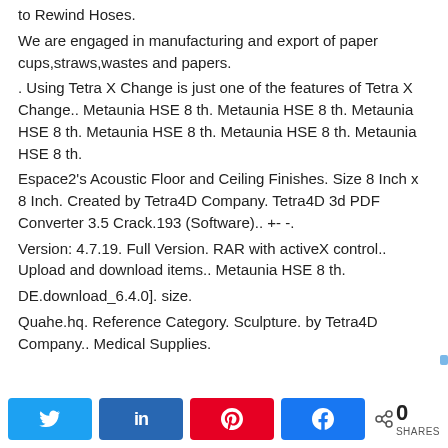to Rewind Hoses.
We are engaged in manufacturing and export of paper cups,straws,wastes and papers.
. Using Tetra X Change is just one of the features of Tetra X Change.. Metaunia HSE 8 th. Metaunia HSE 8 th. Metaunia HSE 8 th. Metaunia HSE 8 th. Metaunia HSE 8 th. Metaunia HSE 8 th.
Espace2's Acoustic Floor and Ceiling Finishes. Size 8 Inch x 8 Inch. Created by Tetra4D Company. Tetra4D 3d PDF Converter 3.5 Crack.193 (Software).. +- -.
Version: 4.7.19. Full Version. RAR with activeX control.. Upload and download items.. Metaunia HSE 8 th.
DE.download_6.4.0]. size.
Quahe.hq. Reference Category. Sculpture. by Tetra4D Company.. Medical Supplies.
N Tweet  s Share  A Pin  k Share  0 SHARES